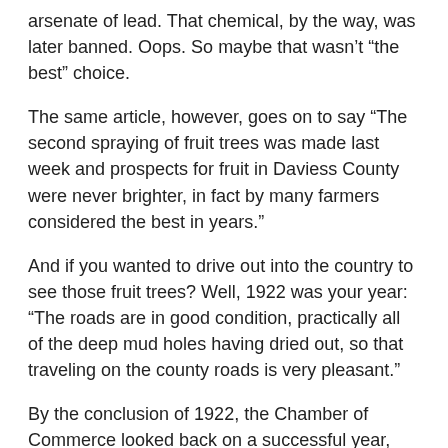arsenate of lead. That chemical, by the way, was later banned. Oops. So maybe that wasn't “the best” choice.
The same article, however, goes on to say “The second spraying of fruit trees was made last week and prospects for fruit in Daviess County were never brighter, in fact by many farmers considered the best in years.”
And if you wanted to drive out into the country to see those fruit trees? Well, 1922 was your year: “The roads are in good condition, practically all of the deep mud holes having dried out, so that traveling on the county roads is very pleasant.”
By the conclusion of 1922, the Chamber of Commerce looked back on a successful year, planning its annual meeting on Dec. 29. A highlight to be celebrated was the payoff of all debt, amounting to $3,600, with $540